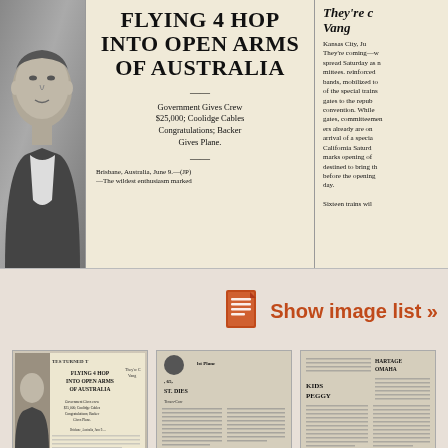[Figure (photo): Newspaper clipping showing a man's portrait on the left, center headline 'FLYING 4 HOP INTO OPEN ARMS OF AUSTRALIA' with subhead 'Government Gives Crew $25,000; Coolidge Cables Congratulations; Backer Gives Plane.' and dateline 'Brisbane, Australia, June 9.—(JP)—The wildest enthusiasm marked', and right column text beginning 'They're c Vang... Kansas City, Ju They're coming—w spread Saturday as n mittees. reinforced bands, mobilized to of the special trains gates to the repub convention. While gates, committeemen ers already are on arrival of a specia California Saturd marks opening of destined to bring th before the opening day.' and 'Sixteen trains wil']
Show image list »
[Figure (photo): Thumbnail of first newspaper clipping showing headline 'TES TURNED T', 'FLYING 4 HOP INTO OPEN ARMS OF AUSTRALIA' with 'They're C Vang' visible, 'Government Gives crew $25,000; Coolidge Cables Congratulations; Backer Gives Plane.' and a man's portrait]
[Figure (photo): Thumbnail of second newspaper clipping with 'ST. DIES' visible and dense columnar text]
[Figure (photo): Thumbnail of third newspaper clipping with 'HARTAGE OMAHA' and 'KIDS PEGGY' headlines visible]